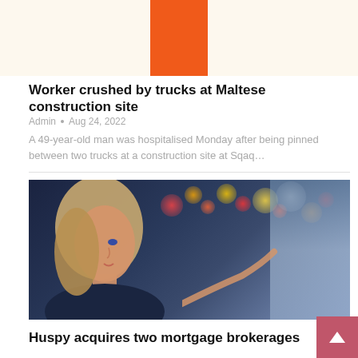[Figure (illustration): Top banner area with cream/beige background and an orange rectangle block centered at top]
Worker crushed by trucks at Maltese construction site
Admin • Aug 24, 2022
A 49-year-old man was hospitalised Monday after being pinned between two trucks at a construction site at Sqaq…
[Figure (photo): A young blonde woman in a dark navy top looking at a lit display screen at night, with colorful bokeh lights in the background]
Huspy acquires two mortgage brokerages